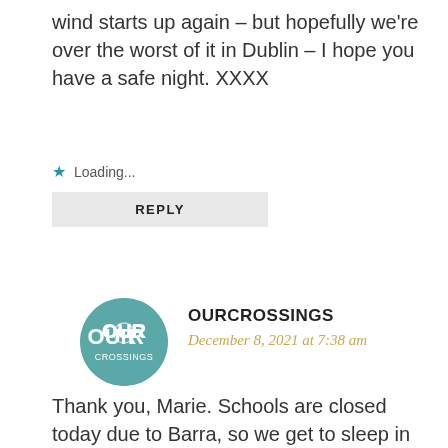wind starts up again – but hopefully we're over the worst of it in Dublin – I hope you have a safe night. XXXX
★ Loading...
REPLY
OURCROSSINGS
December 8, 2021 at 7:38 am
Thank you, Marie. Schools are closed today due to Barra, so we get to sleep in 😊